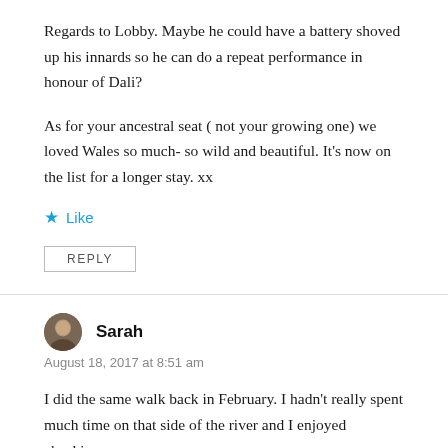Regards to Lobby. Maybe he could have a battery shoved up his innards so he can do a repeat performance in honour of Dali?
As for your ancestral seat ( not your growing one) we loved Wales so much- so wild and beautiful. It’s now on the list for a longer stay. xx
★ Like
REPLY
Sarah
August 18, 2017 at 8:51 am
I did the same walk back in February. I hadn’t really spent much time on that side of the river and I enjoyed checking